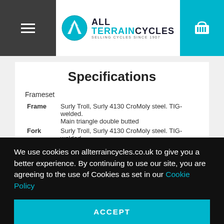All Terrain Cycles - Selling Cycles Since 1907
Specifications
Frameset
| Component | Description |
| --- | --- |
| Frame | Surly Troll, Surly 4130 CroMoly steel. TIG-welded. Main triangle double butted |
| Fork | Surly Troll, Surly 4130 CroMoly steel. TIG-welded. 1-1/8" threadless steer tube, uncut |
We use cookies on allterraincycles.co.uk to give you a better experience. By continuing to use our site, you are agreeing to the use of Cookies as set in our Cookie Policy
ACCEPT